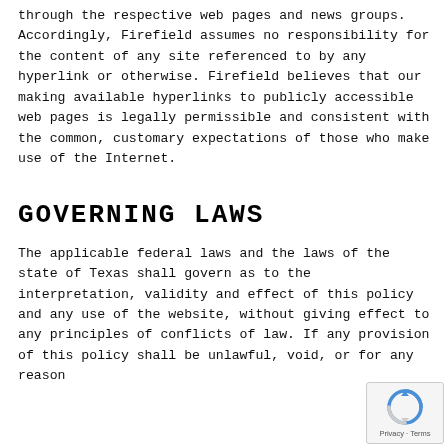through the respective web pages and news groups. Accordingly, Firefield assumes no responsibility for the content of any site referenced to by any hyperlink or otherwise. Firefield believes that our making available hyperlinks to publicly accessible web pages is legally permissible and consistent with the common, customary expectations of those who make use of the Internet.
GOVERNING LAWS
The applicable federal laws and the laws of the state of Texas shall govern as to the interpretation, validity and effect of this policy and any use of the website, without giving effect to any principles of conflicts of law. If any provision of this policy shall be unlawful, void, or for any reason